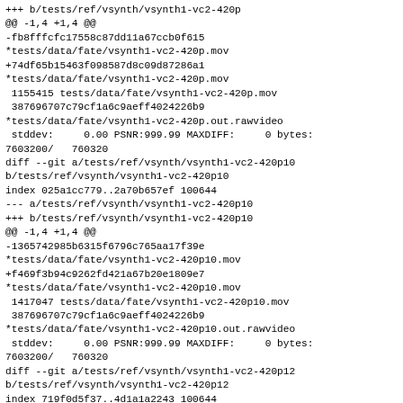+++ b/tests/ref/vsynth/vsynth1-vc2-420p
@@ -1,4 +1,4 @@
-fb8fffcfc17558c87dd11a67ccb0f615
*tests/data/fate/vsynth1-vc2-420p.mov
+74df65b15463f098587d8c09d87286a1
*tests/data/fate/vsynth1-vc2-420p.mov
 1155415 tests/data/fate/vsynth1-vc2-420p.mov
 387696707c79cf1a6c9aeff4024226b9
*tests/data/fate/vsynth1-vc2-420p.out.rawvideo
 stddev:     0.00 PSNR:999.99 MAXDIFF:     0 bytes:
7603200/   760320
diff --git a/tests/ref/vsynth/vsynth1-vc2-420p10
b/tests/ref/vsynth/vsynth1-vc2-420p10
index 025a1cc779..2a70b657ef 100644
--- a/tests/ref/vsynth/vsynth1-vc2-420p10
+++ b/tests/ref/vsynth/vsynth1-vc2-420p10
@@ -1,4 +1,4 @@
-1365742985b6315f6796c765aa17f39e
*tests/data/fate/vsynth1-vc2-420p10.mov
+f469f3b94c9262fd421a67b20e1809e7
*tests/data/fate/vsynth1-vc2-420p10.mov
 1417047 tests/data/fate/vsynth1-vc2-420p10.mov
 387696707c79cf1a6c9aeff4024226b9
*tests/data/fate/vsynth1-vc2-420p10.out.rawvideo
 stddev:     0.00 PSNR:999.99 MAXDIFF:     0 bytes:
7603200/   760320
diff --git a/tests/ref/vsynth/vsynth1-vc2-420p12
b/tests/ref/vsynth/vsynth1-vc2-420p12
index 719f0d5f37..4d1a1a2243 100644
--- a/tests/ref/vsynth/vsynth1-vc2-420p12